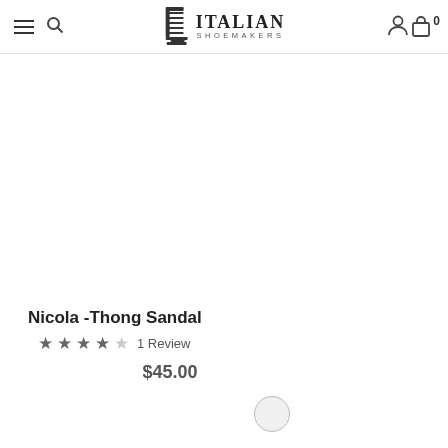Italian Shoemakers — navigation header with hamburger menu, search, logo, account, and cart (0)
[Figure (photo): Product image area (blank/white — shoe image not visible)]
Nicola -Thong Sandal
★★★★☆ 1 Review
$45.00
[Figure (other): Color swatch circle (light gray/white)]